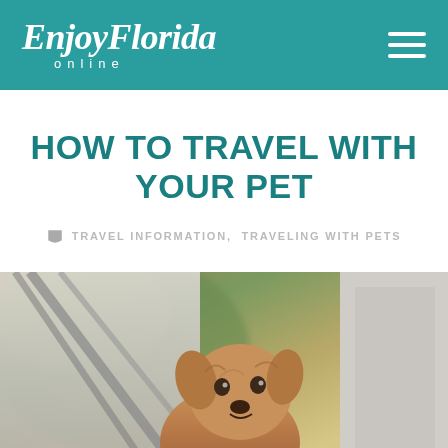EnjoyFlorida online
HOW TO TRAVEL WITH YOUR PET
TRAVEL INFORMATION, TRAVELING WITH PETS
[Figure (photo): A small terrier dog looking out from a vehicle window or door, with blurred green background and vehicle hardware visible]